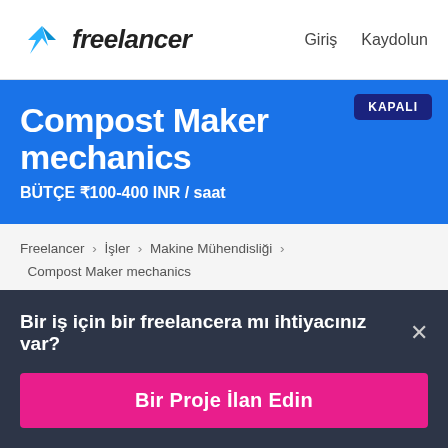freelancer  Giriş  Kaydolun
Compost Maker mechanics
BÜTÇE ₹100-400 INR / saat
KAPALI
Freelancer › İşler › Makine Mühendisliği › Compost Maker mechanics
Bir iş için bir freelancera mı ihtiyacınız var? ×
Bir Proje İlan Edin